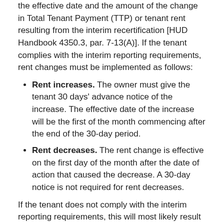the effective date and the amount of the change in Total Tenant Payment (TTP) or tenant rent resulting from the interim recertification [HUD Handbook 4350.3, par. 7-13(A)]. If the tenant complies with the interim reporting requirements, rent changes must be implemented as follows:
Rent increases. The owner must give the tenant 30 days' advance notice of the increase. The effective date of the increase will be the first of the month commencing after the end of the 30-day period.
Rent decreases. The rent change is effective on the first day of the month after the date of action that caused the decrease. A 30-day notice is not required for rent decreases.
If the tenant does not comply with the interim reporting requirements, this will most likely result in a repayment agreement and the owner initiating an interim recertification and implementing rent changes as follows:
Rent increases. Owner must implement the increase